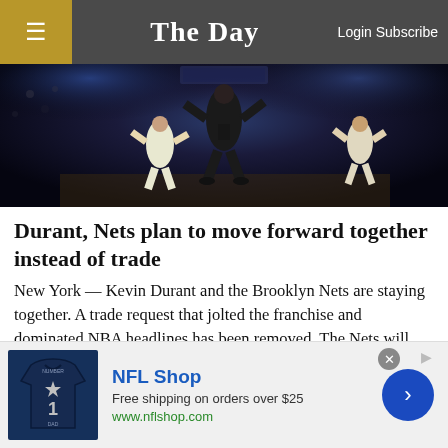The Day  Login Subscribe
[Figure (photo): Basketball game photo showing players in action, dark arena background with court lighting]
Durant, Nets plan to move forward together instead of trade
New York — Kevin Durant and the Brooklyn Nets are staying together. A trade request that jolted the franchise and dominated NBA headlines has been removed. The Nets will return next season with their ...
[Figure (photo): Partial view of a second article photo, dark image]
[Figure (other): NFL Shop advertisement banner: NFL Shop, Free shipping on orders over $25, www.nflshop.com, with Cowboys jersey image and navigation arrow]